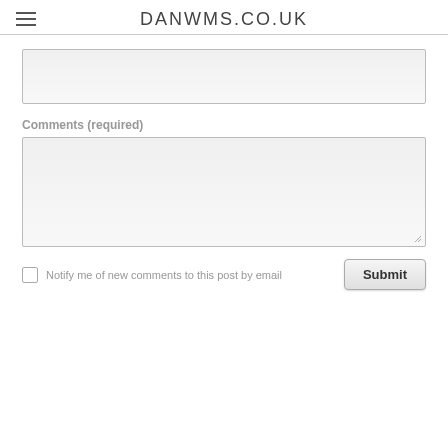DANWMS.CO.UK
[Figure (screenshot): Text input field (empty)]
Comments (required)
[Figure (screenshot): Textarea input field (empty, resizable)]
Notify me of new comments to this post by email
Submit